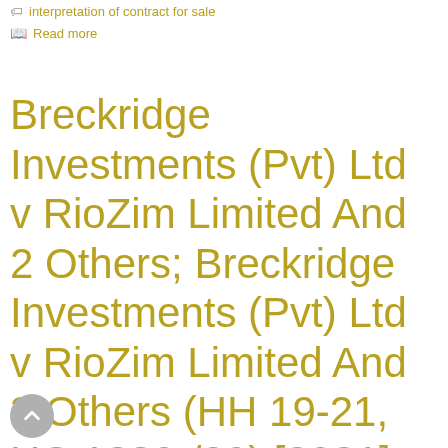interpretation of contract for sale
Read more
Breckridge Investments (Pvt) Ltd v RioZim Limited And 2 Others; Breckridge Investments (Pvt) Ltd v RioZim Limited And 3 Others (HH 19-21, HC 1380-/20) [2021] ZWHHC 19 (25 January 2021);